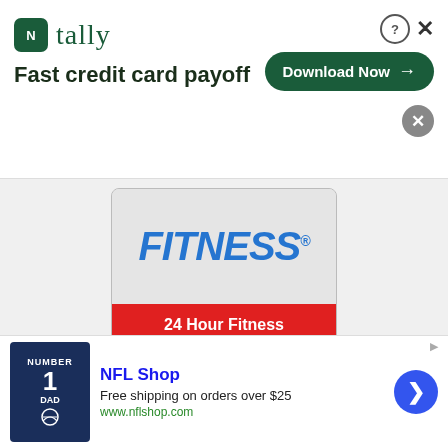[Figure (infographic): Tally app advertisement banner: logo with green icon and 'tally' wordmark, tagline 'Fast credit card payoff', Download Now button in dark green, close/help icons]
[Figure (infographic): 24 Hour Fitness advertisement: FITNESS logo in blue italic text on grey background, red CTA bar with '24 Hour Fitness' and 'Shop Now']
[Figure (infographic): Empty white ad placeholder box with rounded corners]
[Figure (infographic): NFL Shop advertisement: navy jersey with number 1 and DAD text, 'NFL Shop' title in blue, 'Free shipping on orders over $25', www.nflshop.com URL, blue circular arrow button]